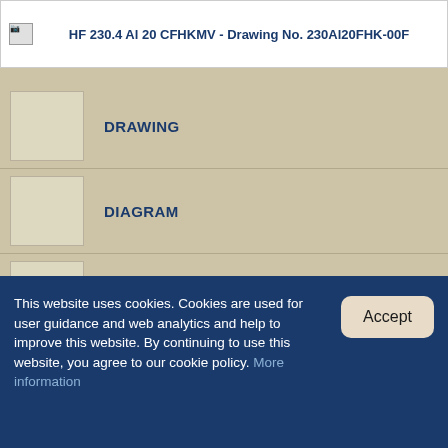HF 230.4 Al 20 CFHKMV - Drawing No. 230Al20FHK-00F
DRAWING
DIAGRAM
STEP-FILE
This website uses cookies. Cookies are used for user guidance and web analytics and help to improve this website. By continuing to use this website, you agree to our cookie policy. More information